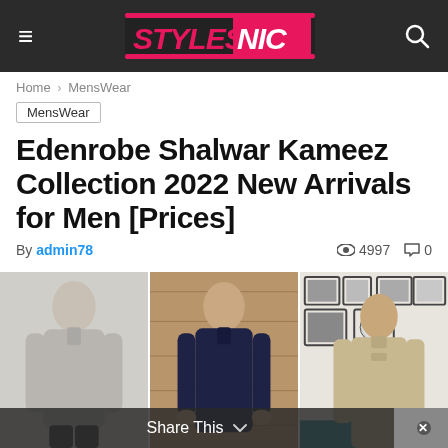STYLESNIC
Home > MensWear
MensWear
Edenrobe Shalwar Kameez Collection 2022 New Arrivals for Men [Prices]
By admin78 · 4997 views · 0 comments
[Figure (photo): Three men wearing Shalwar Kameez outfits: left in light grey, center in dark navy, right in beige/khaki, posed against different backgrounds.]